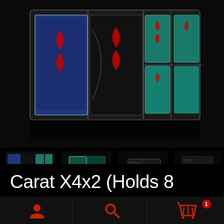[Figure (photo): Main product photo: an acrylic card deck holder (Carat X4x2) containing 8 playing card decks in blue, red/black, and teal colorways, displayed on a dark background.]
[Figure (photo): Thumbnail 1: front-facing view of the Carat X4x2 acrylic card deck holder fully loaded with colorful decks.]
[Figure (photo): Thumbnail 2: side/top view of the Carat X4x2 holder showing teal card deck.]
[Figure (photo): Thumbnail 3: close-up of empty or partially loaded Carat X4x2 acrylic holder.]
[Figure (photo): Thumbnail 4: dark close-up of the Carat X4x2 holder with cards.]
Carat X4x2 (Holds 8 Decks)
User icon | Search icon | Cart icon with badge 1